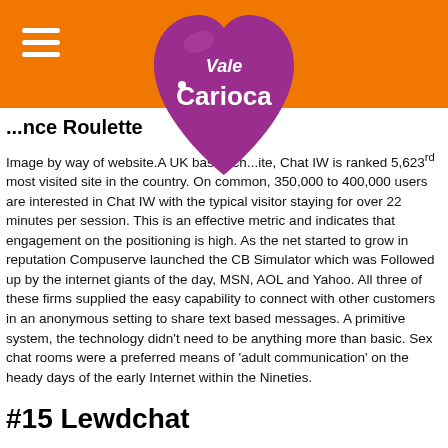[Figure (logo): Vale Carioca logo - purple/magenta heart shape with white text 'Vale Carioca' on orange background header]
...nce Roulette
Image by way of website.A UK based ch...ite, Chat IW is ranked 5,623rd most visited site in the country. On common, 350,000 to 400,000 users are interested in Chat IW with the typical visitor staying for over 22 minutes per session. This is an effective metric and indicates that engagement on the positioning is high. As the net started to grow in reputation Compuserve launched the CB Simulator which was Followed up by the internet giants of the day, MSN, AOL and Yahoo. All three of these firms supplied the easy capability to connect with other customers in an anonymous setting to share text based messages. A primitive system, the technology didn't need to be anything more than basic. Sex chat rooms were a preferred means of 'adult communication' on the heady days of the early Internet within the Nineties.
#15 Lewdchat
You also don't must pay for any membership simply to find a way to use the positioning. In the early age of digital know-how, plenty of users would use these chat rooms to have the ability to faux to be somebody they had been really not . They just love the fun of meeting someone in cyberspace who has no thought who